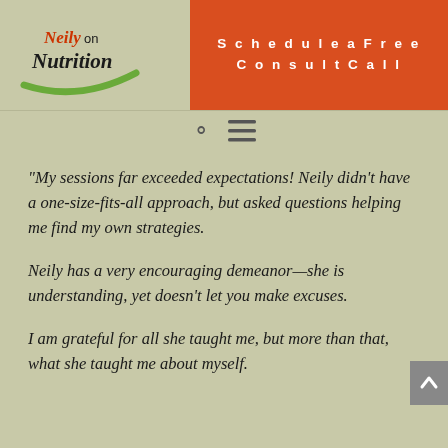[Figure (logo): Neily on Nutrition logo with green swoosh]
Schedule a Free Consult Call
[Figure (other): Search icon and hamburger menu icon navigation bar]
“My sessions far exceeded expectations! Neily didn’t have a one-size-fits-all approach, but asked questions helping me find my own strategies.
Neily has a very encouraging demeanor—she is understanding, yet doesn’t let you make excuses.
I am grateful for all she taught me, but more than that, what she taught me about myself.